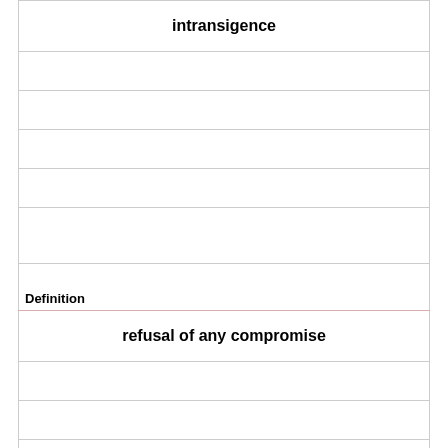| intransigence |
|  |
|  |
|  |
|  |
|  |
| Definition |
| refusal of any compromise |
|  |
|  |
|  |
|  |
|  |
|  |
| Term |